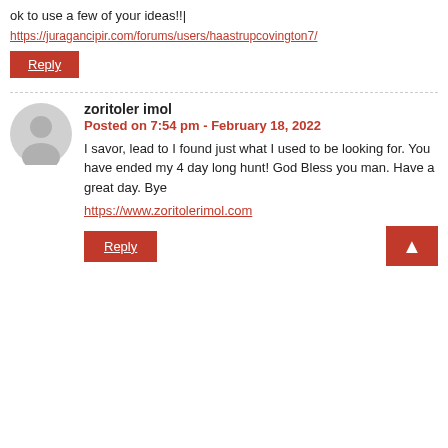ok to use a few of your ideas!!|
https://juragancipir.com/forums/users/haastrupcovington7/
Reply
zoritoler imol
Posted on 7:54 pm - February 18, 2022
I savor, lead to I found just what I used to be looking for. You have ended my 4 day long hunt! God Bless you man. Have a great day. Bye
https://www.zoritolerimol.com
Reply